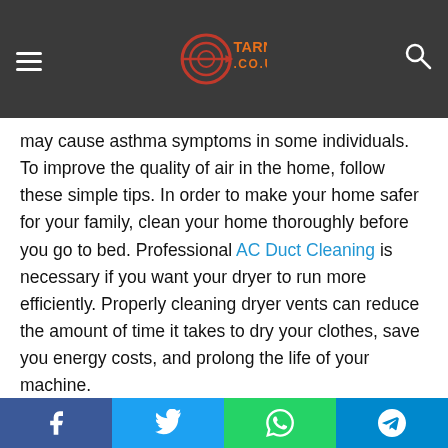TARNTHAI.CO.UK
may cause asthma symptoms in some individuals. To improve the quality of air in the home, follow these simple tips. In order to make your home safer for your family, clean your home thoroughly before you go to bed. Professional AC Duct Cleaning is necessary if you want your dryer to run more efficiently. Properly cleaning dryer vents can reduce the amount of time it takes to dry your clothes, save you energy costs, and prolong the life of your machine.
Toxins and environmental tobacco smoke are two of the biggest culprits in indoor air pollution. Environmental tobacco smoke, or secondhand smoke, can harm lungs and cause asthma attacks. Environmental tobacco smoke is also a
Facebook Twitter WhatsApp Telegram